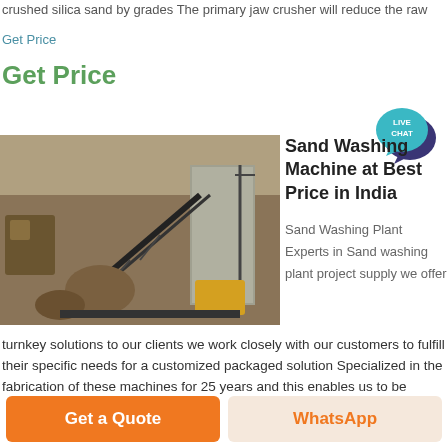crushed silica sand by grades The primary jaw crusher will reduce the raw
Get Price
Get Price
[Figure (photo): Photograph of a sand crushing plant with conveyor belt, rocky terrain, construction equipment and concrete structures]
[Figure (illustration): Live Chat speech bubble icon in teal and dark blue]
Sand Washing Machine at Best Price in India
Sand Washing Plant Experts in Sand washing plant project supply we offer
turnkey solutions to our clients we work closely with our customers to fulfill their specific needs for a customized packaged solution Specialized in the fabrication of these machines for 25 years and this enables us to be
Get a Quote
WhatsApp